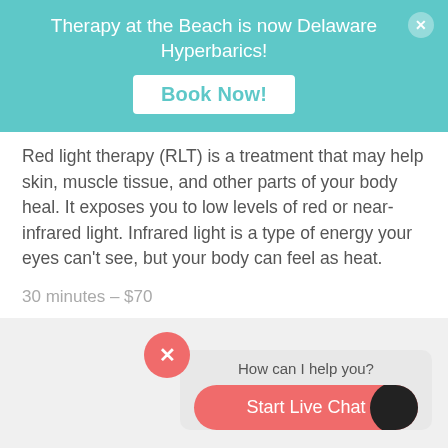Therapy at the Beach is now Delaware Hyperbarics!
Red light therapy (RLT) is a treatment that may help skin, muscle tissue, and other parts of your body heal. It exposes you to low levels of red or near-infrared light. Infrared light is a type of energy your eyes can't see, but your body can feel as heat.
30 minutes – $70
[Figure (screenshot): Live chat widget with 'How can I help you?' text and a 'Start Live Chat' button with a close (X) pink circle button]